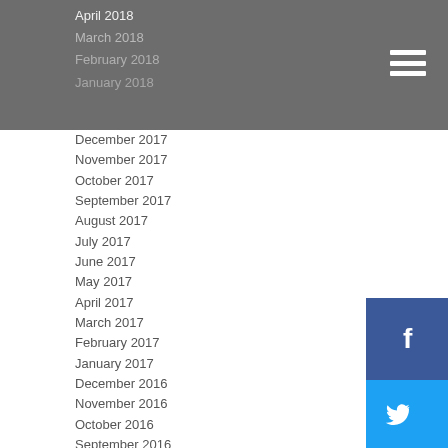April 2018
March 2018
February 2018
January 2018
December 2017
November 2017
October 2017
September 2017
August 2017
July 2017
June 2017
May 2017
April 2017
March 2017
February 2017
January 2017
December 2016
November 2016
October 2016
September 2016
August 2016
July 2016
June 2016
May 2016
April 2016
March 2016
February 2016
January 2016
December 2015
[Figure (infographic): Social media icons: Facebook (blue), Twitter (cyan), Pinterest (red), LinkedIn (blue), Instagram (magenta)]